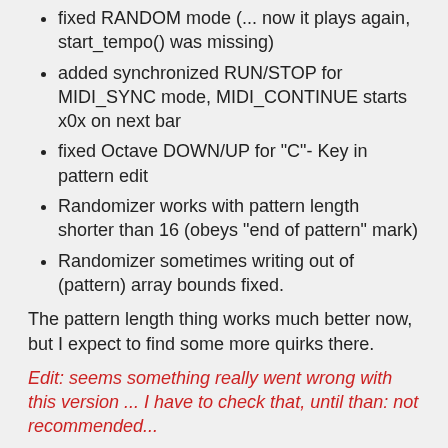fixed RANDOM mode (... now it plays again, start_tempo() was missing)
added synchronized RUN/STOP for MIDI_SYNC mode, MIDI_CONTINUE starts x0x on next bar
fixed Octave DOWN/UP for "C"- Key in pattern edit
Randomizer works with pattern length shorter than 16 (obeys "end of pattern" mark)
Randomizer sometimes writing out of (pattern) array bounds fixed.
The pattern length thing works much better now, but I expect to find some more quirks there.
Edit: seems something really went wrong with this version ... I have to check that, until than: not recommended...
Edit: Outdated file removed, see viewtopic.php?f=13&t=33914&p=592644#p592644 for next version